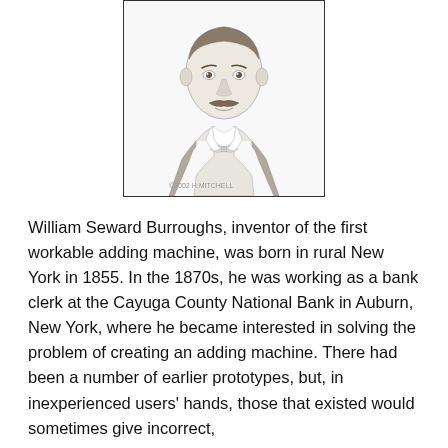[Figure (illustration): A pencil sketch portrait of William Seward Burroughs, showing head and upper torso. The man has a mustache, is wearing a suit with a bow tie. Copyright notice '©2002 H.MITCHELL' appears at the bottom right of the image. The illustration is enclosed in a rectangular border.]
William Seward Burroughs, inventor of the first workable adding machine, was born in rural New York in 1855. In the 1870s, he was working as a bank clerk at the Cayuga County National Bank in Auburn, New York, where he became interested in solving the problem of creating an adding machine. There had been a number of earlier prototypes, but, in inexperienced users' hands, those that existed would sometimes give incorrect,